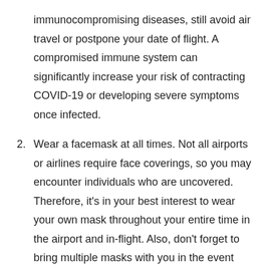immunocompromising diseases, still avoid air travel or postpone your date of flight. A compromised immune system can significantly increase your risk of contracting COVID-19 or developing severe symptoms once infected.
2. Wear a facemask at all times. Not all airports or airlines require face coverings, so you may encounter individuals who are uncovered. Therefore, it’s in your best interest to wear your own mask throughout your entire time in the airport and in-flight. Also, don’t forget to bring multiple masks with you in the event that one is lost or damaged.